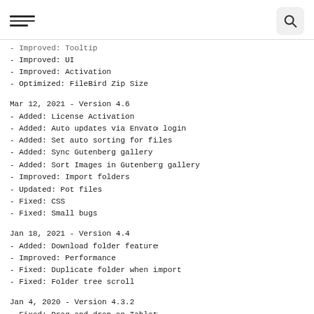Navigation menu and search button
- Improved: Tooltip
- Improved: UI
- Improved: Activation
- Optimized: FileBird Zip Size
Mar 12, 2021 - Version 4.6
- Added: License Activation
- Added: Auto updates via Envato login
- Added: Set auto sorting for files
- Added: Sync Gutenberg gallery
- Added: Sort Images in Gutenberg gallery
- Improved: Import folders
- Updated: Pot files
- Fixed: CSS
- Fixed: Small bugs
Jan 18, 2021 - Version 4.4
- Added: Download folder feature
- Improved: Performance
- Fixed: Duplicate folder when import
- Fixed: Folder tree scroll
Jan 4, 2020 - Version 4.3.2
- Fixed: Drag and drop on Tablet